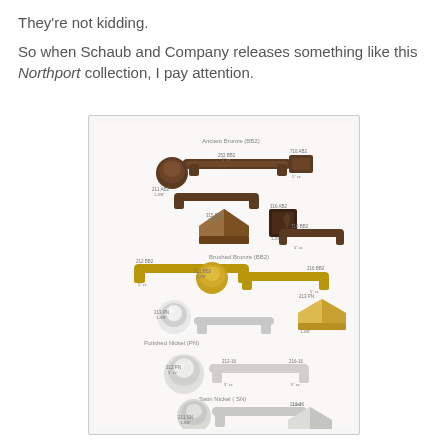They're not kidding.
So when Schaub and Company releases something like this Northport collection, I pay attention.
[Figure (photo): Product catalog image showing the Northport collection from Schaub and Company, featuring various cabinet hardware pieces in three finishes: Ancient Bronze (BB2), Brushed Bronze (BB2), and Polished Nickel (PN). Items include round knobs, square pyramid knobs, bar pulls of various sizes, and backplate pulls. Small product codes and size labels are printed next to each item.]